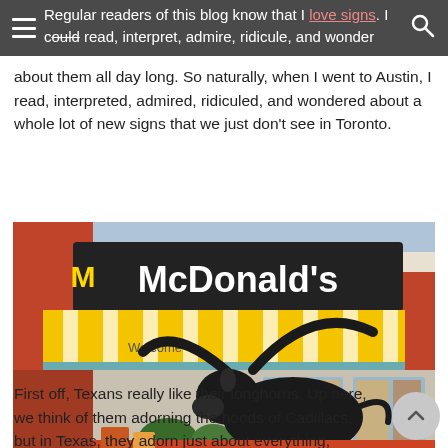Regular readers of this blog know that I love signs. I could read, interpret, admire, ridicule, and wonder about them all day long.
So naturally, when I went to Austin, I read, interpreted, admired, ridiculed, and wondered about a whole lot of new signs that we just don't see in Toronto.
[Figure (photo): A McDonald's restaurant exterior with a large black longhorn bull statue in front. The restaurant has yellow and white striped awning with a 'Welcome' sign, and the iconic McDonald's sign on top. Promotional signs for caramel frappes visible in the windows.]
First off, Texans really like their longhorns. Up here, we think of them adorning the hoods of Cadillacs, but in Texas, they adorn just about everything, including the Golden Arches.